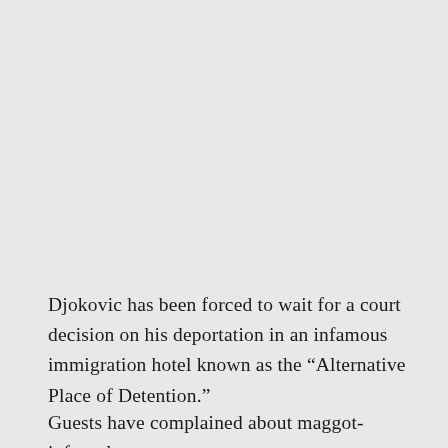Djokovic has been forced to wait for a court decision on his deportation in an infamous immigration hotel known as the “Alternative Place of Detention.”
Guests have complained about maggot-infested